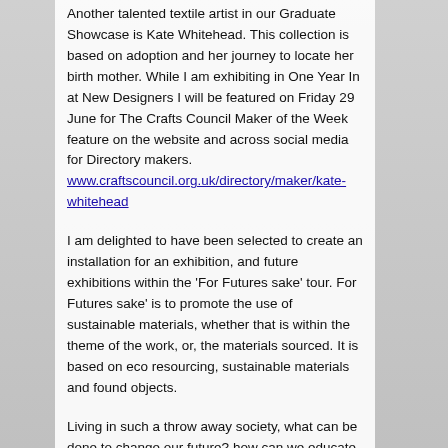Another talented textile artist in our Graduate Showcase is Kate Whitehead. This collection is based on adoption and her journey to locate her birth mother. While I am exhibiting in One Year In at New Designers I will be featured on Friday 29 June for The Crafts Council Maker of the Week feature on the website and across social media for Directory makers. www.craftscouncil.org.uk/directory/maker/kate-whitehead
I am delighted to have been selected to create an installation for an exhibition, and future exhibitions within the 'For Futures sake' tour. For Futures sake' is to promote the use of sustainable materials, whether that is within the theme of the work, or, the materials sourced. It is based on eco resourcing, sustainable materials and found objects.
Living in such a throw away society, what can be done to change our future? how can we educate the next generation to think of ways to reuse materials and extend the life of the beautiful planet we live on?The